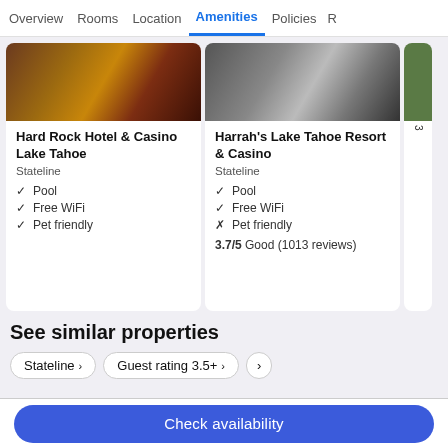Overview  Rooms  Location  Amenities  Policies  R
[Figure (photo): Hotel room interior photo for Hard Rock Hotel & Casino Lake Tahoe]
Hard Rock Hotel & Casino Lake Tahoe
Stateline
Pool
Free WiFi
Pet friendly
[Figure (photo): Hotel room interior photo for Harrah's Lake Tahoe Resort & Casino]
Harrah's Lake Tahoe Resort & Casino
Stateline
Pool
Free WiFi
Pet friendly
3.7/5 Good (1013 reviews)
See similar properties
Stateline ›
Guest rating 3.5+ ›
›
Check availability